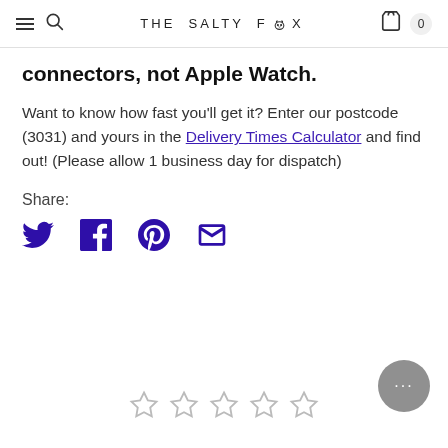THE SALTY FOX — navigation bar with hamburger, search, logo, bag, cart count 0
connectors, not Apple Watch.
Want to know how fast you'll get it? Enter our postcode (3031) and yours in the Delivery Times Calculator and find out! (Please allow 1 business day for dispatch)
Share:
[Figure (other): Social share icons: Twitter, Facebook, Pinterest, Email — all in dark purple/indigo color]
[Figure (other): Five empty (unfilled) star rating icons in a row, centered at bottom of page]
[Figure (other): Gray circular chat bubble button with ellipsis (…) in bottom right corner]